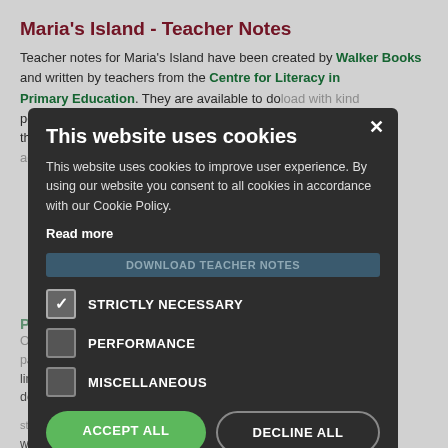Maria's Island - Teacher Notes
Teacher notes for Maria's Island have been created by Walker Books and written by teachers from the Centre for Literacy in Primary Education. They are available to download with kind permission from Walker Books — free to use the ideas in them and cross-curricular activities and links.
[Figure (screenshot): Cookie consent modal dialog overlaid on a webpage. The modal has a dark background and contains: title 'This website uses cookies', body text explaining cookie usage, a 'Read more' link, three cookie options (STRICTLY NECESSARY checked, PERFORMANCE unchecked, MISCELLANEOUS unchecked), ACCEPT ALL (green) and DECLINE ALL (outlined) buttons, and a SHOW DETAILS option with gear icon. A close X button is in the top right corner.]
Parent Letters
Our parent letters are designed so schools are able to share with parents details of the storyline, and the school or class fundraising links plus trading stances, all ready for you to download and share.
starter for reading (contact XXXXXX to receive a (editable word document)